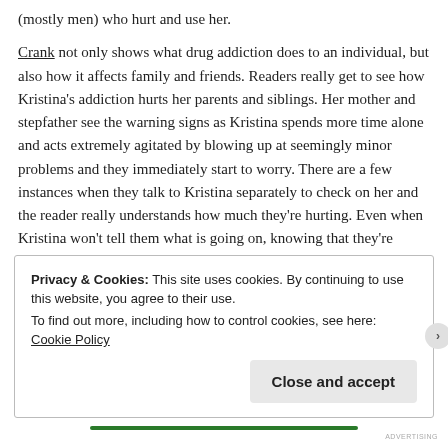(mostly men) who hurt and use her.
Crank not only shows what drug addiction does to an individual, but also how it affects family and friends. Readers really get to see how Kristina's addiction hurts her parents and siblings. Her mother and stepfather see the warning signs as Kristina spends more time alone and acts extremely agitated by blowing up at seemingly minor problems and they immediately start to worry. There are a few instances when they talk to Kristina separately to check on her and the reader really understands how much they're hurting. Even when Kristina won't tell them what is going on, knowing that they're daughter is hiding something big from them tears them apart.
Privacy & Cookies: This site uses cookies. By continuing to use this website, you agree to their use.
To find out more, including how to control cookies, see here: Cookie Policy
Close and accept